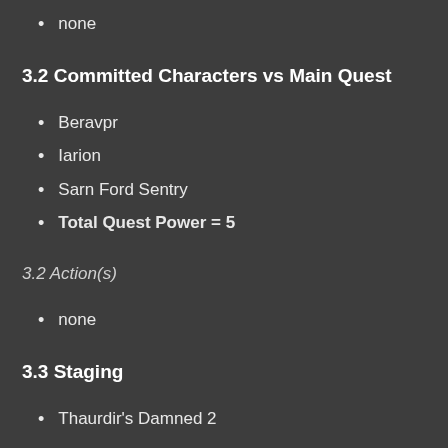none
3.2 Committed Characters vs Main Quest
Beravpr
Iarion
Sarn Ford Sentry
Total Quest Power = 5
3.2 Action(s)
none
3.3 Staging
Thaurdir's Damned 2